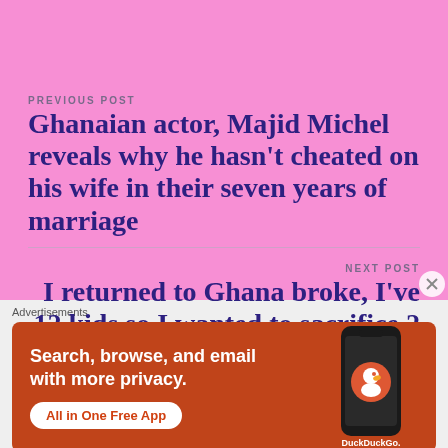PREVIOUS POST
Ghanaian actor, Majid Michel reveals why he hasn't cheated on his wife in their seven years of marriage
NEXT POST
I returned to Ghana broke, I've 12 kids so I wanted to sacrifice 2 for money – Borga explains
Advertisements
[Figure (screenshot): DuckDuckGo advertisement banner with orange/red background showing phone with DuckDuckGo app. Text: 'Search, browse, and email with more privacy. All in One Free App'. DuckDuckGo logo visible.]